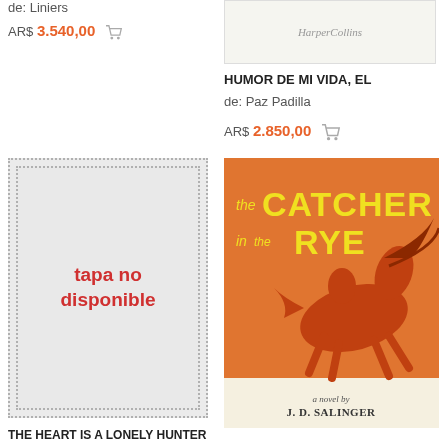de: Liniers
ARS 3.540,00
[Figure (other): HarperCollins publisher logo/placeholder book cover image]
HUMOR DE MI VIDA, EL
de: Paz Padilla
ARS 2.850,00
[Figure (other): Placeholder image with dotted border and text 'tapa no disponible' in red]
[Figure (other): Book cover of 'The Catcher in the Rye' by J.D. Salinger - orange cover with equestrian illustration]
THE HEART IS A LONELY HUNTER